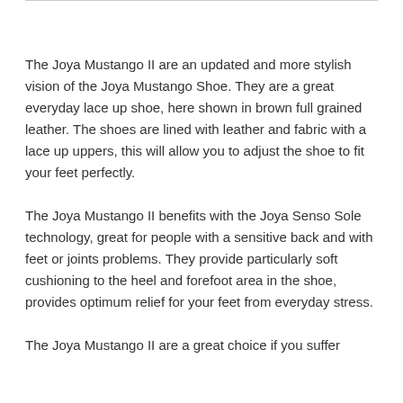The Joya Mustango II are an updated and more stylish vision of the Joya Mustango Shoe. They are a great everyday lace up shoe, here shown in brown full grained leather. The shoes are lined with leather and fabric with a lace up uppers, this will allow you to adjust the shoe to fit your feet perfectly.
The Joya Mustango II benefits with the Joya Senso Sole technology, great for people with a sensitive back and with feet or joints problems. They provide particularly soft cushioning to the heel and forefoot area in the shoe, provides optimum relief for your feet from everyday stress.
The Joya Mustango II are a great choice if you suffer